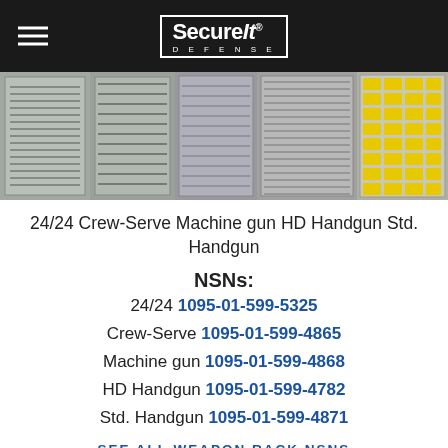SecureIt DEFENSE
[Figure (photo): Five weapon storage cabinet products shown side by side: 24/24, Crew-Serve, Machine gun, HD Handgun, and Std. Handgun variants]
24/24 Crew-Serve Machine gun HD Handgun Std. Handgun
NSNs:
24/24 1095-01-599-5325
Crew-Serve 1095-01-599-4865
Machine gun 1095-01-599-4868
HD Handgun 1095-01-599-4782
Std. Handgun 1095-01-599-4871
SEE ALL WEAPON RACK NSNS
The SecureIt Tactical weapon